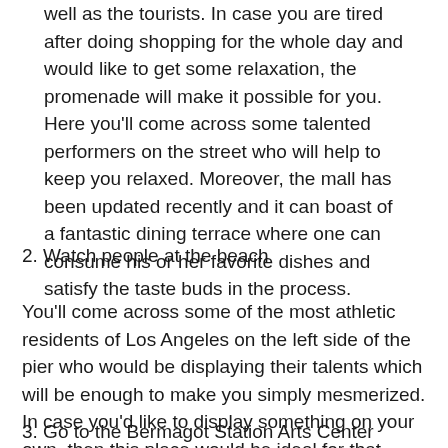well as the tourists. In case you are tired after doing shopping for the whole day and would like to get some relaxation, the promenade will make it possible for you. Here you'll come across some talented performers on the street who will help to keep you relaxed. Moreover, the mall has been updated recently and it can boast of a fantastic dining terrace where one can consume his or her favorite dishes and satisfy the taste buds in the process.
2. Watch people at the beach
You'll come across some of the most athletic residents of Los Angeles on the left side of the pier who would be displaying their talents which will be enough to make you simply mesmerized. In case you'd like to display something on your own, then this place would be ideal for that.
3. Go to the Bermagot Station Arts Center